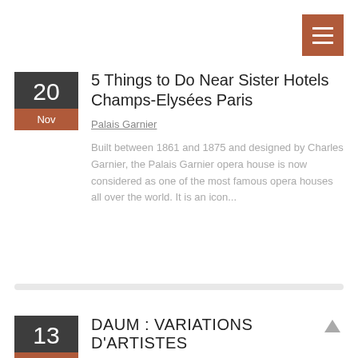[Figure (other): Hamburger menu button (three horizontal white lines on brown/terracotta background)]
5 Things to Do Near Sister Hotels Champs-Elysées Paris
Palais Garnier
Built between 1861 and 1875 and designed by Charles Garnier, the Palais Garnier opera house is now considered as one of the most famous opera houses all over the world. It is an icon...
DAUM : VARIATIONS D'ARTISTES
In collaboration with the French master glassmaker DAUM, the Espace Dali Montmartre holds an exceptional exhibition of unique glass items. "DAUM